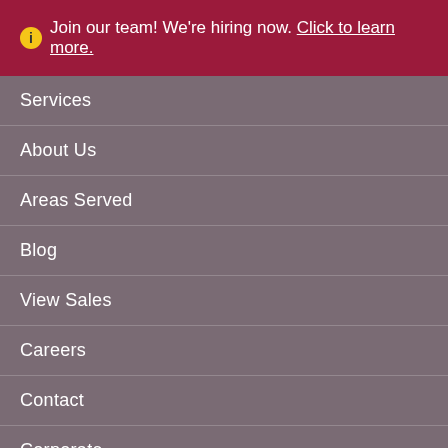Join our team! We're hiring now. Click to learn more.
Services
About Us
Areas Served
Blog
View Sales
Careers
Contact
Corporate
Accessibility
Privacy Policy
[Figure (logo): Facebook social media icon - blue circle with white F]